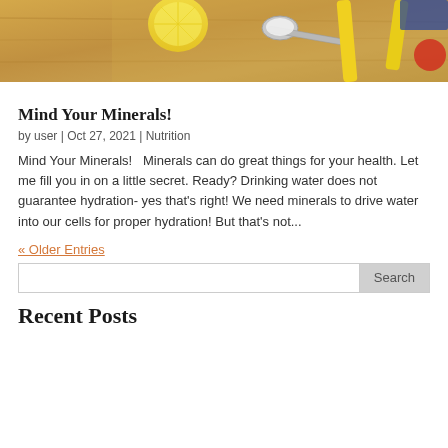[Figure (photo): Top-down view of a wooden cutting board with a lemon slice, a spoon with white powder/salt, yellow kitchen tools, and a red item in the corner.]
Mind Your Minerals!
by user | Oct 27, 2021 | Nutrition
Mind Your Minerals!   Minerals can do great things for your health. Let me fill you in on a little secret. Ready? Drinking water does not guarantee hydration- yes that’s right! We need minerals to drive water into our cells for proper hydration! But that’s not...
« Older Entries
Search
Recent Posts